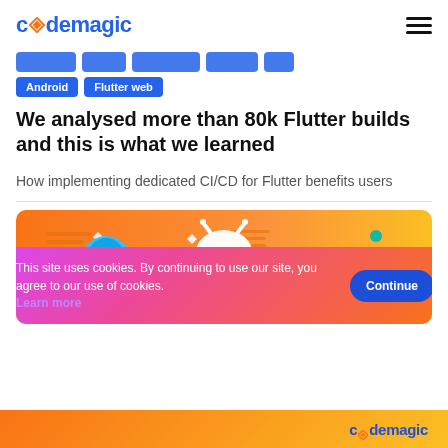codemagic
Android
Flutter web
We analysed more than 80k Flutter builds and this is what we learned
How implementing dedicated CI/CD for Flutter benefits users
[Figure (illustration): Codemagic hero banner with orange/yellow gradient background showing Android robot and star icons with a blue illustrated character]
This site uses cookies. By continuing to use our site, you agree to our use of cookies. Learn more